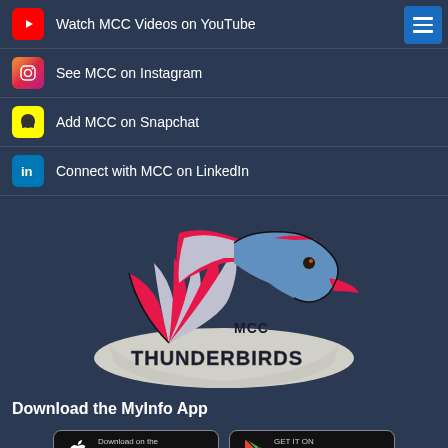Watch MCC Videos on YouTube
See MCC on Instagram
Add MCC on Snapchat
Connect with MCC on LinkedIn
[Figure (logo): MCC Thunderbirds mascot logo — bird head with red and blue feathers, text 'MCC THUNDERBIRDS' below]
Download the MyInfo App
[Figure (infographic): App store download buttons: 'Download on the App Store' and 'GET IT ON Google Play']